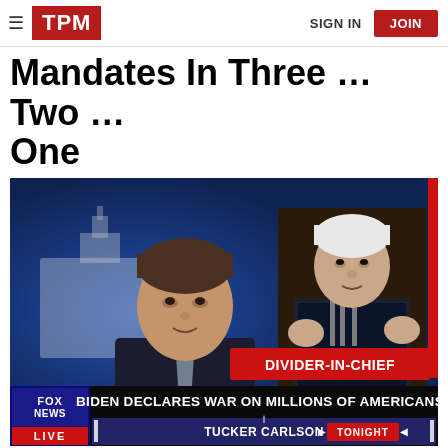TPM  SIGN IN  JOIN
Mandates In Three … Two … One
[Figure (screenshot): Fox News screenshot showing news anchor with image of President Biden behind him. Lower-third graphic reads 'BIDEN DECLARES WAR ON MILLIONS OF AMERICANS / TUCKER CARLSON TONIGHT'. Red banner reads 'DIVIDER-IN-CHIEF'. Fox News Live logo visible in bottom left.]
(Screenshot: Fox News/Snapstream)